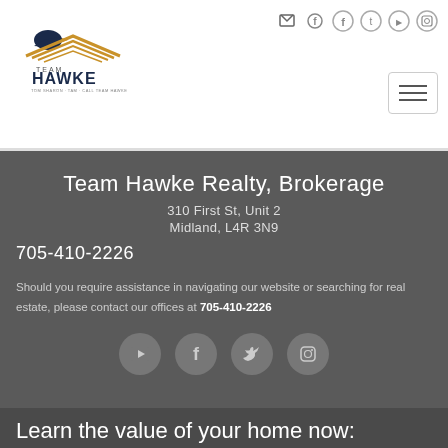[Figure (logo): Team Hawke real estate logo with eagle and golden roof lines above text TEAM HAWKE]
Team Hawke Realty, Brokerage
310 First St, Unit 2
Midland, L4R 3N9
705-410-2226
Should you require assistance in navigating our website or searching for real estate, please contact our offices at 705-410-2226
[Figure (infographic): Social media icon circles: YouTube, Facebook, Twitter, Instagram]
Learn the value of your home now: